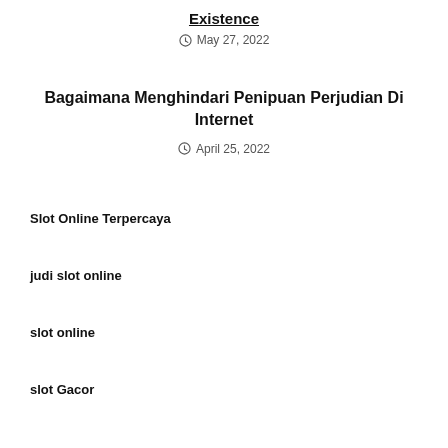Existence
May 27, 2022
Bagaimana Menghindari Penipuan Perjudian Di Internet
April 25, 2022
Slot Online Terpercaya
judi slot online
slot online
slot Gacor